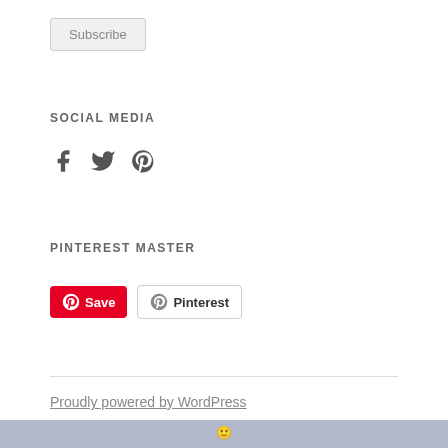Subscribe
SOCIAL MEDIA
[Figure (other): Social media icons: Facebook, Twitter, Pinterest]
PINTEREST MASTER
[Figure (other): Pinterest Save button and Pinterest Follow button]
Proudly powered by WordPress